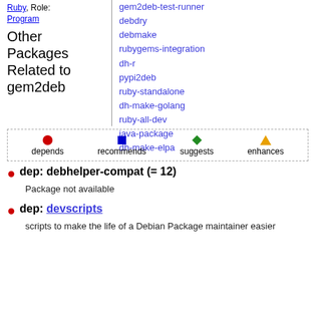Ruby, Role:
Program
Other Packages Related to gem2deb
gem2deb-test-runner
debdry
debmake
rubygems-integration
dh-r
pypi2deb
ruby-standalone
dh-make-golang
ruby-all-dev
java-package
dh-make-elpa
[Figure (infographic): Legend showing: red circle = depends, blue square = recommends, green diamond = suggests, orange triangle = enhances]
dep: debhelper-compat (= 12)
Package not available
dep: devscripts
scripts to make the life of a Debian Package maintainer easier